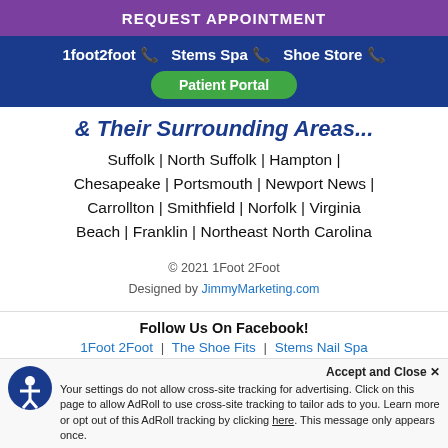REQUEST APPOINTMENT
1foot2foot 📞   Stems Spa 📞   Shoe Store 📞
Patient Portal
& Their Surrounding Areas...
Suffolk | North Suffolk | Hampton | Chesapeake | Portsmouth | Newport News | Carrollton | Smithfield | Norfolk | Virginia Beach | Franklin | Northeast North Carolina
© 2021 1Foot 2Foot
Designed by JimmyMarketing.com
Follow Us On Facebook!
1Foot 2Foot   |   The Shoe Fits   |   Stems Nail Spa
Accept and Close ✕
Your settings do not allow cross-site tracking for advertising. Click on this page to allow AdRoll to use cross-site tracking to tailor ads to you. Learn more or opt out of this AdRoll tracking by clicking here. This message only appears once.